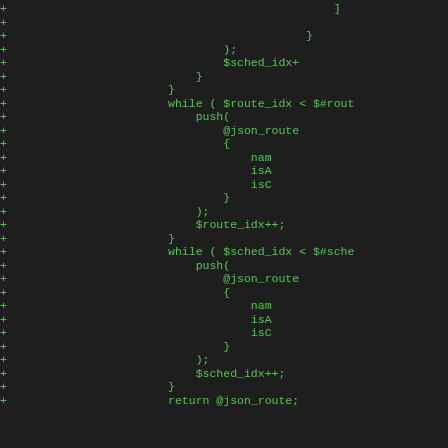Code diff showing additions to a Perl/PHP script with route and schedule index processing logic